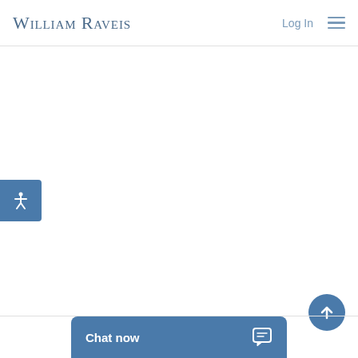William Raveis · Log In · Menu
[Figure (logo): William Raveis logo in steel blue serif small-caps font]
[Figure (other): Accessibility button (blue square with person icon) on left edge]
[Figure (other): Scroll to top circular blue button with upward arrow, bottom right]
[Figure (other): Chat now blue bar at bottom center with chat bubble icon]